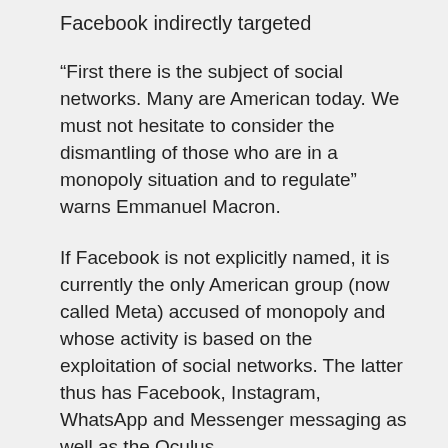Facebook indirectly targeted
“First there is the subject of social networks. Many are American today. We must not hesitate to consider the dismantling of those who are in a monopoly situation and to regulate” warns Emmanuel Macron.
If Facebook is not explicitly named, it is currently the only American group (now called Meta) accused of monopoly and whose activity is based on the exploitation of social networks. The latter thus has Facebook, Instagram, WhatsApp and Messenger messaging as well as the Oculus